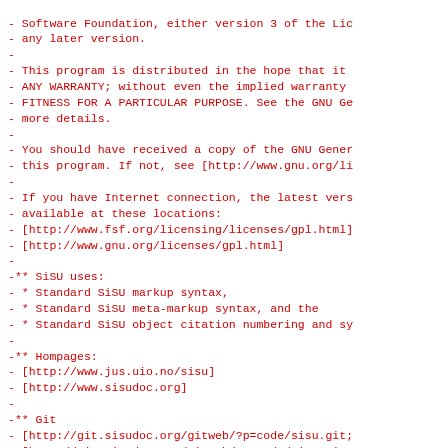- Software Foundation, either version 3 of the Lic
- any later version.
-
- This program is distributed in the hope that it
- ANY WARRANTY; without even the implied warranty
- FITNESS FOR A PARTICULAR PURPOSE. See the GNU Ge
- more details.
-
- You should have received a copy of the GNU Gener
- this program. If not, see [http://www.gnu.org/li
-
- If you have Internet connection, the latest vers
- available at these locations:
-   [http://www.fsf.org/licensing/licenses/gpl.html]
-   [http://www.gnu.org/licenses/gpl.html]
-
-** SiSU uses:
-   * Standard SiSU markup syntax,
-   * Standard SiSU meta-markup syntax, and the
-   * Standard SiSU object citation numbering and sy
-
-** Hompages:
-   [http://www.jus.uio.no/sisu]
-   [http://www.sisudoc.org]
-
-** Git
-   [http://git.sisudoc.org/gitweb/?p=code/sisu.git;
-   [http://git.sisudoc.org/gitweb/?p=code/sisu.git;
-
-=end
+#   Name: SiSU